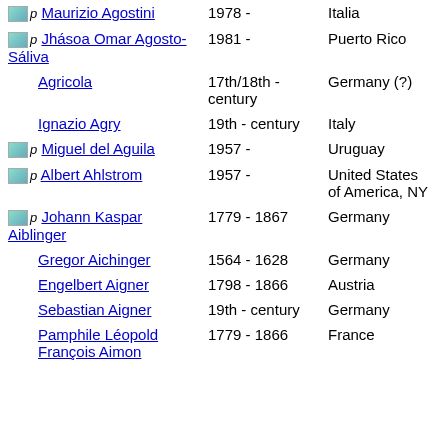| Name | Dates | Country | Count |
| --- | --- | --- | --- |
| Maurizio Agostini | 1978 - | Italia | 1 |
| Jhásoa Omar Agosto-Sáliva | 1981 - | Puerto Rico | 1 |
| Agricola | 17th/18th - century | Germany (?) | 1 |
| Ignazio Agry | 19th - century | Italy | 2 |
| Miguel del Aguila | 1957 - | Uruguay | 1 |
| Albert Ahlstrom | 1957 - | United States of America, NY | 1 |
| Johann Kaspar Aiblinger | 1779 - 1867 | Germany | 4 |
| Gregor Aichinger | 1564 - 1628 | Germany | 3 |
| Engelbert Aigner | 1798 - 1866 | Austria | 1 |
| Sebastian Aigner | 19th - century | Germany | 3 |
| Pamphile Léopold François Aimon | 1779 - 1866 | France | 1 |